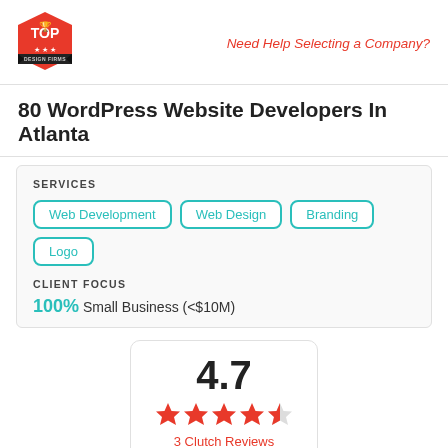[Figure (logo): Top Design Firms red hexagonal badge logo]
Need Help Selecting a Company?
80 WordPress Website Developers In Atlanta
SERVICES
Web Development
Web Design
Branding
Logo
CLIENT FOCUS
100% Small Business (<$10M)
4.7
[Figure (other): 4.7 out of 5 stars rating with 5 red stars (last half-filled)]
3 Clutch Reviews